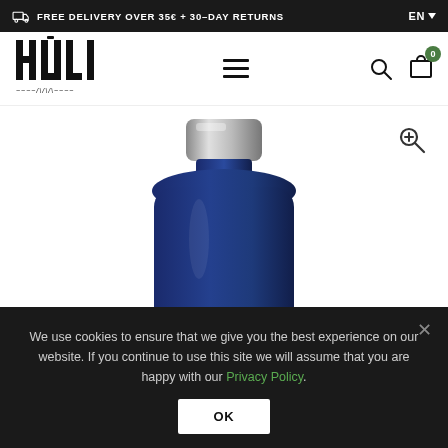FREE DELIVERY OVER 35€ + 30-DAY RETURNS
[Figure (logo): HULI brand logo with stylized bold letters and small crocodile graphic underneath]
[Figure (photo): Blue insulated stainless steel water bottle with silver metallic screw cap lid, shown against white background]
We use cookies to ensure that we give you the best experience on our website. If you continue to use this site we will assume that you are happy with our Privacy Policy.
OK